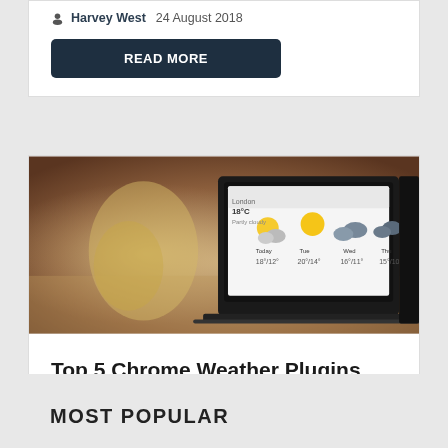Harvey West  24 August 2018
READ MORE
[Figure (photo): Laptop on a desk showing a weather plugin/app with weather icons and forecast data]
Top 5 Chrome Weather Plugins
Harvey West  13 February 2018
READ MORE
MOST POPULAR